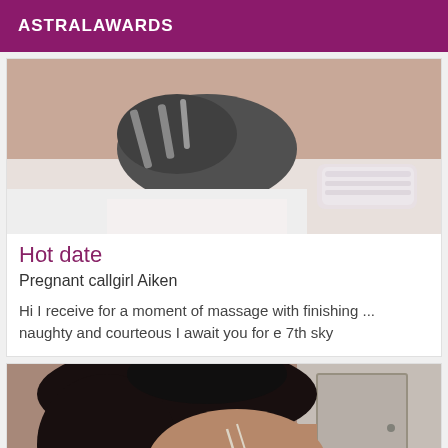ASTRALAWARDS
[Figure (photo): Close-up photo of legs/feet on white bedding, wearing high-heeled sandals and white lace lingerie]
Hot date
Pregnant callgirl Aiken
Hi I receive for a moment of massage with finishing ... naughty and courteous I await you for e 7th sky
[Figure (photo): Photo of a woman with dark hair, partial view, wearing a light-colored top, against a room background]